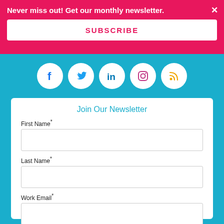Never miss out! Get our monthly newsletter.
SUBSCRIBE
[Figure (illustration): Row of social media icons: Facebook, Twitter, LinkedIn, Instagram, RSS feed]
Join Our Newsletter
First Name*
Last Name*
Work Email*
Subscribe